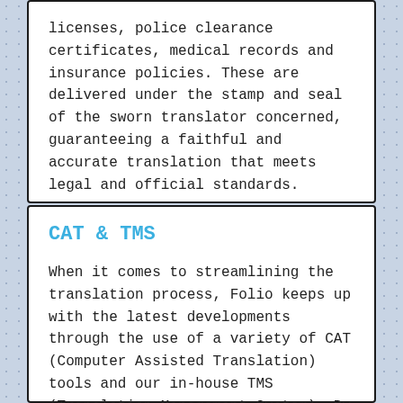licenses, police clearance certificates, medical records and insurance policies. These are delivered under the stamp and seal of the sworn translator concerned, guaranteeing a faithful and accurate translation that meets legal and official standards.
CAT & TMS
When it comes to streamlining the translation process, Folio keeps up with the latest developments through the use of a variety of CAT (Computer Assisted Translation) tools and our in-house TMS (Translation Management System). By providing facilities and personal guidance